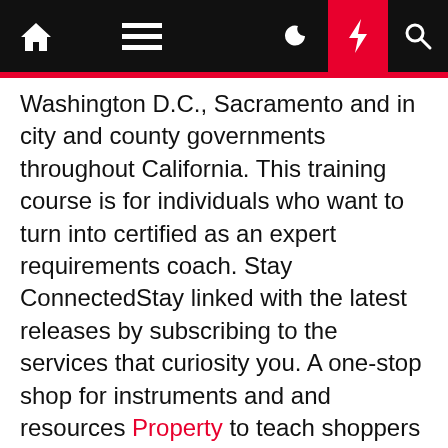[Navigation bar with home, menu, moon, bolt, and search icons]
Washington D.C., Sacramento and in city and county governments throughout California. This training course is for individuals who want to turn into certified as an expert requirements coach. Stay ConnectedStay linked with the latest releases by subscribing to the services that curiosity you. A one-stop shop for instruments and and resources Property to teach shoppers concerning the intricacies of shopping for and promoting a home and how a REALTOR® might help. Education CalendarBrowse our class schedule to search out when and the place to take real estate programs. Consumer MediationThe C.A.R. Real Estate Mediation Center for Consumers has mediators available to help consumers and sellers in resolving their disputes.